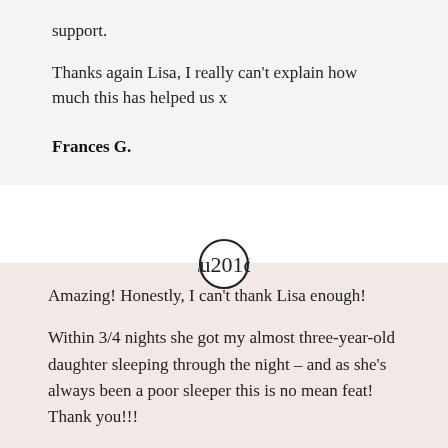support.
Thanks again Lisa, I really can't explain how much this has helped us x
Frances G.
[Figure (illustration): Closing double quotation mark symbol inside a circle, used as a decorative quote icon]
Amazing! Honestly, I can't thank Lisa enough!
Within 3/4 nights she got my almost three-year-old daughter sleeping through the night – and as she's always been a poor sleeper this is no mean feat! Thank you!!!